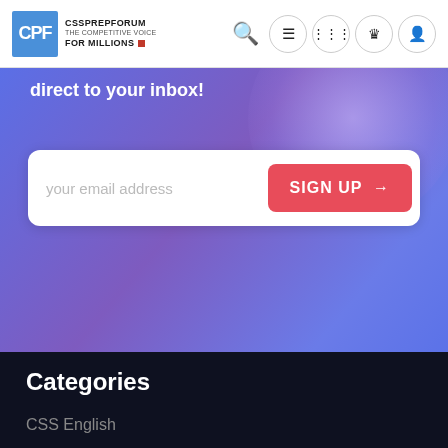CPF CSSPREPFORUM THE COMPETITIVE VOICE FOR MILLIONS
direct to your inbox!
[Figure (screenshot): Email signup form with placeholder 'your email address' and a red SIGN UP button with arrow]
Categories
CSS English